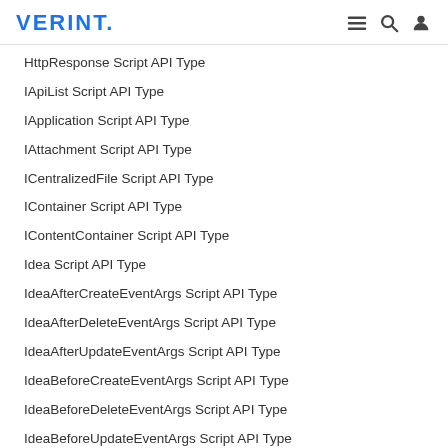VERINT.
HttpResponse Script API Type
IApiList Script API Type
IApplication Script API Type
IAttachment Script API Type
ICentralizedFile Script API Type
IContainer Script API Type
IContentContainer Script API Type
Idea Script API Type
IdeaAfterCreateEventArgs Script API Type
IdeaAfterDeleteEventArgs Script API Type
IdeaAfterUpdateEventArgs Script API Type
IdeaBeforeCreateEventArgs Script API Type
IdeaBeforeDeleteEventArgs Script API Type
IdeaBeforeUpdateEventArgs Script API Type
IdeaCategory Script API Type
IdeaRenderEventArgs Script API Type
IdeaStatus Script API Type